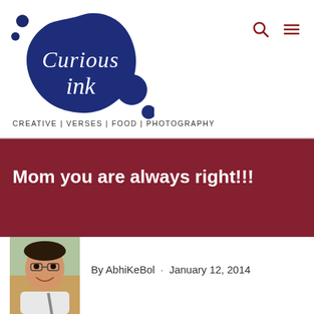[Figure (logo): Curious Ink blog logo: dark navy blue blob/ink splat shape with white cursive text reading 'Curious ink', with small decorative circles/dots around it]
CREATIVE | VERSES | FOOD | PHOTOGRAPHY
Mom you are always right!!!
[Figure (photo): Author profile photo: young man smiling, wearing a backpack, outdoor setting]
By AbhiKeBol · January 12, 2014